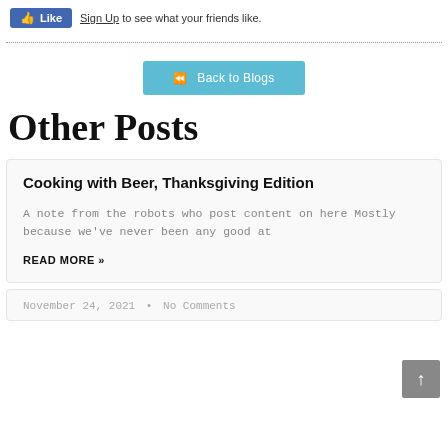[Figure (screenshot): Facebook Like button with 'Sign Up to see what your friends like.' text]
Back to Blogs
Other Posts
Cooking with Beer, Thanksgiving Edition
A note from the robots who post content on here Mostly because we've never been any good at
READ MORE »
November 24, 2021  •  No Comments